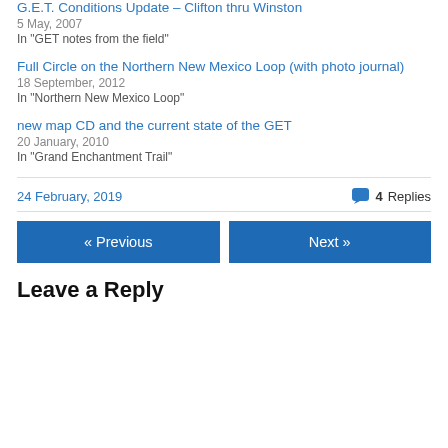G.E.T. Conditions Update – Clifton thru Winston
5 May, 2007
In "GET notes from the field"
Full Circle on the Northern New Mexico Loop (with photo journal)
18 September, 2012
In "Northern New Mexico Loop"
new map CD and the current state of the GET
20 January, 2010
In "Grand Enchantment Trail"
24 February, 2019      4 Replies
« Previous    Next »
Leave a Reply